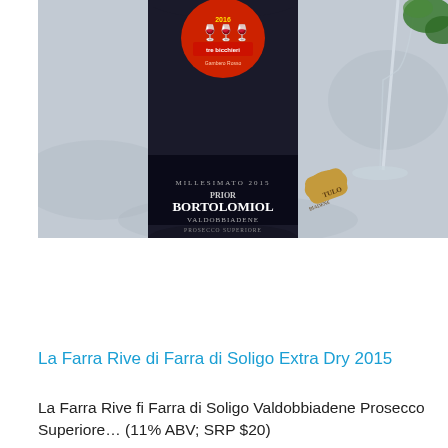[Figure (photo): A dark wine bottle labeled 'Prior Bortolomiol Valdobbiadene Prosecco Superiore' with a Tre Bicchieri Gambero Rosso award sticker on the top, next to a wine cork and a champagne glass on a stone/marble surface.]
La Farra Rive di Farra di Soligo Extra Dry 2015
La Farra Rive fi Farra di Soligo Valdobbiadene Prosecco Superiore… (11% ABV; SRP $20)